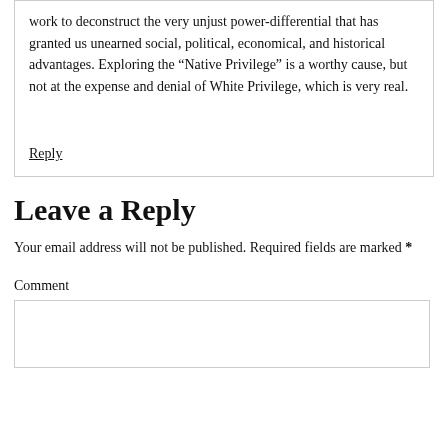work to deconstruct the very unjust power-differential that has granted us unearned social, political, economical, and historical advantages. Exploring the “Native Privilege” is a worthy cause, but not at the expense and denial of White Privilege, which is very real.
Reply
Leave a Reply
Your email address will not be published. Required fields are marked *
Comment